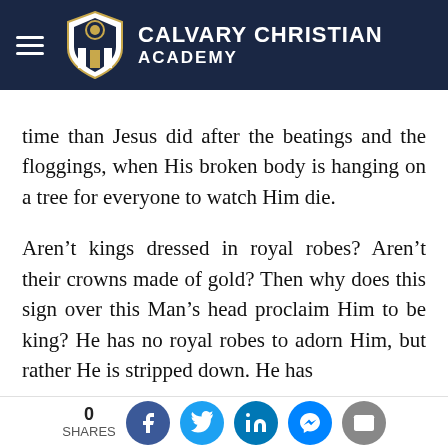Calvary Christian Academy
time than Jesus did after the beatings and the floggings, when His broken body is hanging on a tree for everyone to watch Him die.

Aren't kings dressed in royal robes? Aren't their crowns made of gold? Then why does this sign over this Man's head proclaim Him to be king? He has no royal robes to adorn Him, but rather He is stripped down. He has
0 SHARES [Facebook] [Twitter] [LinkedIn] [Messenger] [Email]